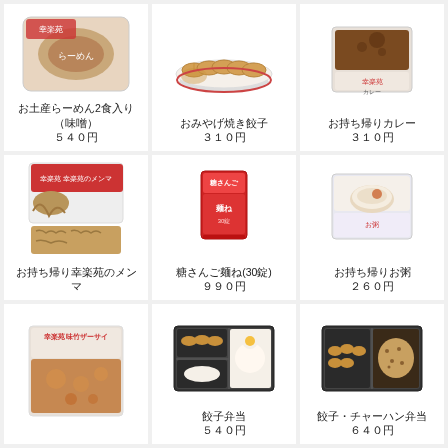[Figure (photo): お土産らーめん2食入り（味噌）package photo]
お土産らーめん2食入り（味噌）
540円
[Figure (photo): おみやげ焼き餃子 on a plate]
おみやげ焼き餃子
310円
[Figure (photo): お持ち帰りカレー package]
お持ち帰りカレー
310円
[Figure (photo): お持ち帰り幸楽苑のメンマ package]
お持ち帰り幸楽苑のメンマ
[Figure (photo): 糖さんご麺ね(30錠) package]
糖さんご麺ね(30錠)
990円
[Figure (photo): お持ち帰りお粥 package]
お持ち帰りお粥
260円
[Figure (photo): 味竹ザーサイ package photo]
[Figure (photo): 餃子弁当 bento box]
餃子弁当
540円
[Figure (photo): 餃子・チャーハン弁当 bento box]
餃子・チャーハン弁当
640円